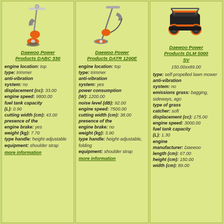[Figure (photo): Daewoo Power Products DABC 330 trimmer/brush cutter with orange and white design]
Daewoo Power Products DABC 330
engine location: top
type: trimmer
anti-vibration system: no
displacement (cc): 33.00
engine speed: 9800.00
fuel tank capacity (L): 0.90
cutting width (cm): 43.00
presence of the engine brake: yes
weight (kg): 7.70
type handle: height-adjustable
equipment: shoulder strap
more information
[Figure (photo): Daewoo Power Products DATR 1200E electric grass trimmer with orange accent]
Daewoo Power Products DATR 1200E
engine location: top
type: trimmer
anti-vibration system: yes
power consumption (W): 1200.00
noise level (dB): 92.00
engine speed: 7500.00
cutting width (cm): 38.00
presence of the engine brake: no
weight (kg): 3.90
type handle: height-adjustable, folding
equipment: shoulder strap
more information
[Figure (photo): Daewoo Power Products DLM 5000 SV self-propelled lawn mower, black and orange]
Daewoo Power Products DLM 5000 SV
150.00xx89.00
type: self-propelled lawn mower
anti-vibration system: no
emissions grass: bagging, sideways, ago
type of grass catcher: soft
displacement (cc): 175.00
engine speed: 3000.00
fuel tank capacity (L): 1.30
engine manufacturer: Daewoo
length (cm): 67.00
height (cm): 150.00
width (cm): 89.00